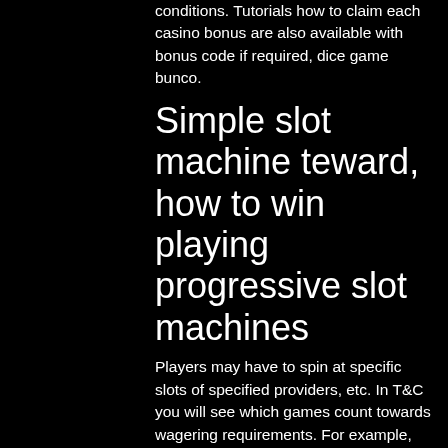conditions. Tutorials how to claim each casino bonus are also available with bonus code if required, dice game bunco.
Simple slot machine teward, how to win playing progressive slot machines
Players may have to spin at specific slots of specified providers, etc. In T&C you will see which games count towards wagering requirements. For example, slots may count 100% while table games may only count 10%, etc. Check whether you must enter online casino no deposit bonus codes to qualify for bonuses. Bonus winnings often have a maximum winning amount, best slot machines to play. Bingo No Deposit Bonus, best slot machines to play. And all these